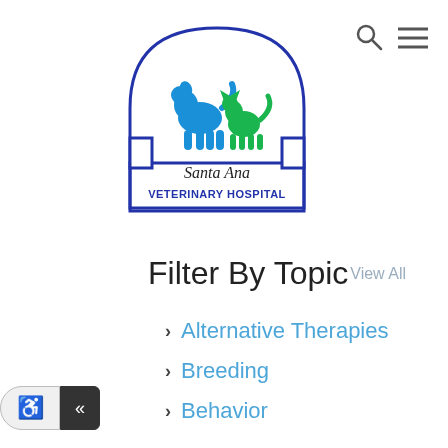[Figure (logo): Santa Ana Veterinary Hospital logo with blue dog and green cat silhouettes inside an arch shape]
Search and Menu icons
Filter By Topic
View All
Alternative Therapies
Breeding
Behavior
Care & Wellness
Characteristics
Dental
[Figure (other): Accessibility widget with wheelchair icon and collapse arrow buttons]